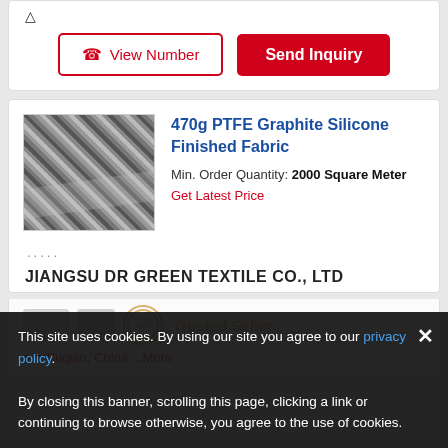[Figure (screenshot): View Number button with phone icon (red border, red text) and Send Inquiry button (red background, white text)]
[Figure (photo): Close-up photo of 470g PTFE Graphite Silicone Finished Fabric, showing a dark grey woven textile with a diagonal weave pattern]
470g PTFE Graphite Silicone Finished Fabric
Min. Order Quantity: 2000 Square Meter
Get Latest Price
.....
JIANGSU DR GREEN TEXTILE CO., LTD
This site uses cookies. By using our site you agree to our privacy policy. By closing this banner, scrolling this page, clicking a link or continuing to browse otherwise, you agree to the use of cookies.